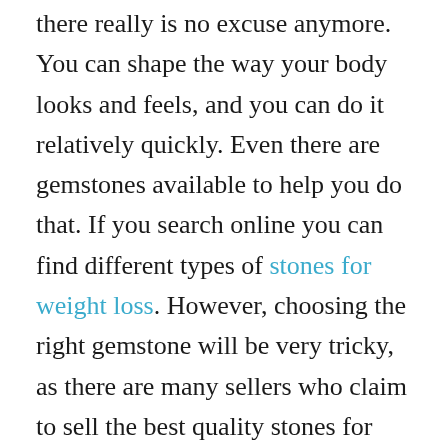there really is no excuse anymore. You can shape the way your body looks and feels, and you can do it relatively quickly. Even there are gemstones available to help you do that. If you search online you can find different types of stones for weight loss. However, choosing the right gemstone will be very tricky, as there are many sellers who claim to sell the best quality stones for weight loss. But, not all of them actually work.

Gems like Green Tourmaline, Ethiopian Opal, Cerussite, Sunstone, Green Heulandite, Dream Quartz, and Purple